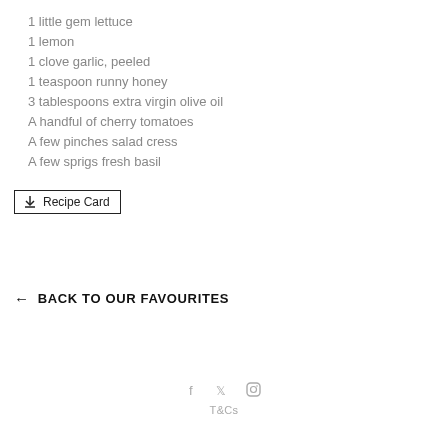1 little gem lettuce
1 lemon
1 clove garlic, peeled
1 teaspoon runny honey
3 tablespoons extra virgin olive oil
A handful of cherry tomatoes
A few pinches salad cress
A few sprigs fresh basil
Recipe Card
← BACK TO OUR FAVOURITES
T&Cs